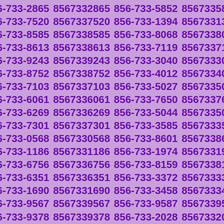856-733-2865 8567332865 856-733-5852 8567335852 856-733-7520 8567337520 856-733-1394 8567331394 856-733-8585 8567338585 856-733-8068 8567338068 856-733-8613 8567338613 856-733-7119 8567337119 856-733-9243 8567339243 856-733-3040 8567333040 856-733-8752 8567338752 856-733-4012 8567334012 856-733-7103 8567337103 856-733-5027 8567335027 856-733-6061 8567336061 856-733-7650 8567337650 856-733-6269 8567336269 856-733-5044 8567335044 856-733-7301 8567337301 856-733-3585 8567333585 856-733-0568 8567330568 856-733-8601 8567338601 856-733-1186 8567331186 856-733-1974 8567331974 856-733-6756 8567336756 856-733-8159 8567338159 856-733-6351 8567336351 856-733-3372 8567333372 856-733-1690 8567331690 856-733-3458 8567333458 856-733-9567 8567339567 856-733-9587 8567339587 856-733-9378 8567339378 856-733-2028 8567332028 856-733-0530 8567330530 856-733-4159 8567334159 856-733-0644 8567330644 856-733-0763 8567330763 856-733-2183 8567332183 856-733-2265 8567332265